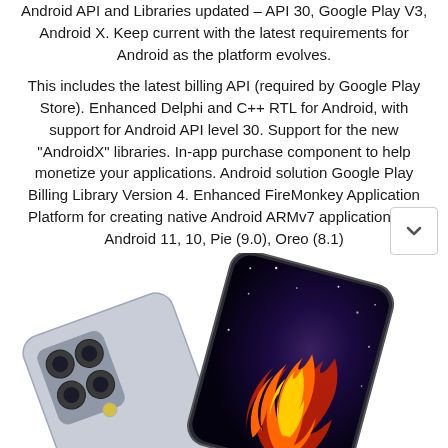Android API and Libraries updated – API 30, Google Play V3, Android X. Keep current with the latest requirements for Android as the platform evolves.
This includes the latest billing API (required by Google Play Store). Enhanced Delphi and C++ RTL for Android, with support for Android API level 30. Support for the new "AndroidX" libraries. In-app purchase component to help monetize your applications. Android solution Google Play Billing Library Version 4. Enhanced FireMonkey Application Platform for creating native Android ARMv7 applications for Android 11, 10, Pie (9.0), Oreo (8.1)
[Figure (photo): Two Android smartphones shown at angles – one silver/gray phone showing its back with a triple camera module, and one dark phone showing its screen with a flame logo (FireMonkey) on a starry galaxy background.]